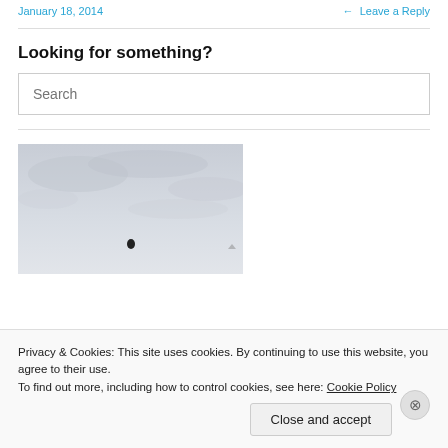January 18, 2014   ← Leave a Reply
Looking for something?
Search
[Figure (photo): Outdoor sky photo with grey overcast sky and a small dark figure/bird near the center-bottom of the image]
Privacy & Cookies: This site uses cookies. By continuing to use this website, you agree to their use.
To find out more, including how to control cookies, see here: Cookie Policy
Close and accept